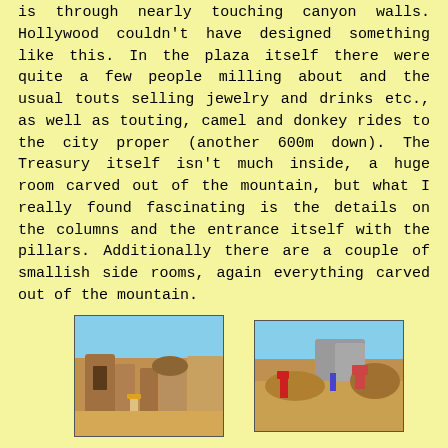is through nearly touching canyon walls. Hollywood couldn't have designed something like this. In the plaza itself there were quite a few people milling about and the usual touts selling jewelry and drinks etc., as well as touting, camel and donkey rides to the city proper (another 600m down). The Treasury itself isn't much inside, a huge room carved out of the mountain, but what I really found fascinating is the details on the columns and the entrance itself with the pillars. Additionally there are a couple of smallish side rooms, again everything carved out of the mountain.
[Figure (photo): Photo of canyon walls and carved rock buildings in Petra, Jordan, with a person walking on a sandy path]
[Figure (photo): Photo of tourists sitting on rocks with a wide valley and rock formations visible in the background at Petra]
After spending some time in the plaza just watching the tourists and marveling at the Treasury we continued further down the valley to where it opened up into an open area between the rock formations. Here on both sides are huge "buildings" carved out of the rocks. These are actually tombs of varying shape and sizes, carved into the mountains on both sides of the canyon. We then took a sharp left and climbed up the mountain to the left of the Coliseum and headed up to the High Place of Sacrifice. Half way up we stopped and had lunch on a nice rock outcrops giving us a stunning view of the valley below as well as of the tourists making their way up, huffing and puffing, or often sitting on a donkey being guided up the mountain. Just below